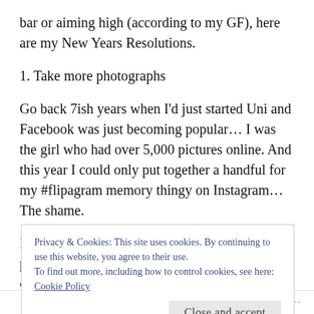bar or aiming high (according to my GF), here are my New Years Resolutions.
1. Take more photographs
Go back 7ish years when I'd just started Uni and Facebook was just becoming popular… I was the girl who had over 5,000 pictures online. And this year I could only put together a handful for my #flipagram memory thingy on Instagram… The shame.
I pledge to carry my camera with me at all potentially
Privacy & Cookies: This site uses cookies. By continuing to use this website, you agree to their use.
To find out more, including how to control cookies, see here: Cookie Policy
Close and accept
Follow